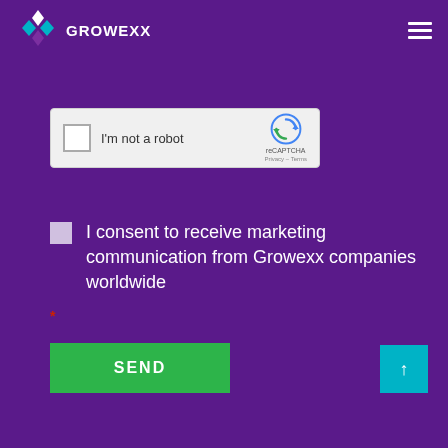[Figure (logo): Growexx logo with diamond/arrow icon in teal and purple colors, and white 'GROWEXX' text]
[Figure (screenshot): reCAPTCHA widget with checkbox, 'I'm not a robot' text, and reCAPTCHA logo with Privacy and Terms links]
I consent to receive marketing communication from Growexx companies worldwide
*
SEND
[Figure (other): Teal scroll-to-top button with upward arrow]